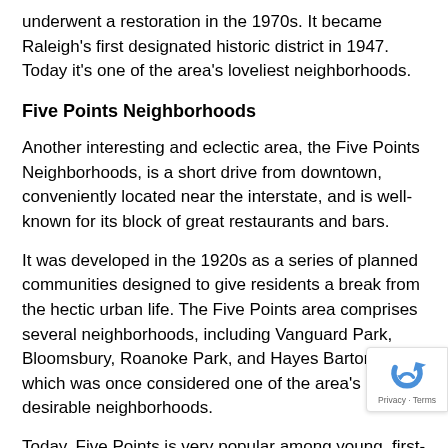underwent a restoration in the 1970s. It became Raleigh's first designated historic district in 1947. Today it's one of the area's loveliest neighborhoods.
Five Points Neighborhoods
Another interesting and eclectic area, the Five Points Neighborhoods, is a short drive from downtown, conveniently located near the interstate, and is well-known for its block of great restaurants and bars.
It was developed in the 1920s as a series of planned communities designed to give residents a break from the hectic urban life. The Five Points area comprises several neighborhoods, including Vanguard Park, Bloomsbury, Roanoke Park, and Hayes Barton, which was once considered one of the area's most desirable neighborhoods.
Today, Five Points is very popular among young, first-time homebuyers. The housing styles here vary greatly, from 1920s bungalow-style houses to larger, more ornate homes. This hodge-podge of home sizes and styles only ser make the area even more unique.
Explore Raleigh-Area Homes Today!